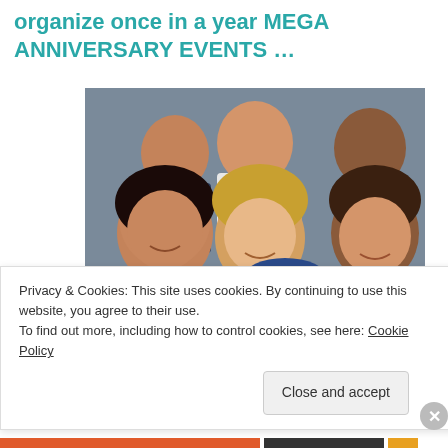organize once in a year MEGA ANNIVERSARY EVENTS …
[Figure (photo): Group of smiling teenage girls in navy blue jackets posing together for a photo]
Privacy & Cookies: This site uses cookies. By continuing to use this website, you agree to their use.
To find out more, including how to control cookies, see here: Cookie Policy
Close and accept